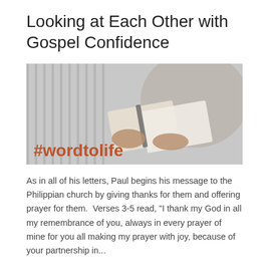Looking at Each Other with Gospel Confidence
[Figure (photo): Grayscale photo of a person holding an open book/Bible, with a red/orange hashtag '#wordtolife' overlaid in the lower left corner]
As in all of his letters, Paul begins his message to the Philippian church by giving thanks for them and offering prayer for them.  Verses 3-5 read, "I thank my God in all my remembrance of you, always in every prayer of mine for you all making my prayer with joy, because of your partnership in...